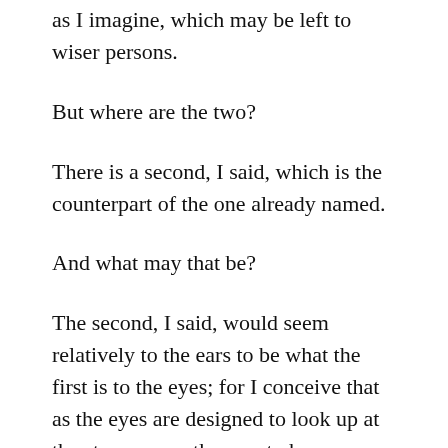as I imagine, which may be left to wiser persons.
But where are the two?
There is a second, I said, which is the counterpart of the one already named.
And what may that be?
The second, I said, would seem relatively to the ears to be what the first is to the eyes; for I conceive that as the eyes are designed to look up at the stars, so are the ears to hear harmonious motions; and these are sister sciences as the Pythagoreans say, and we,